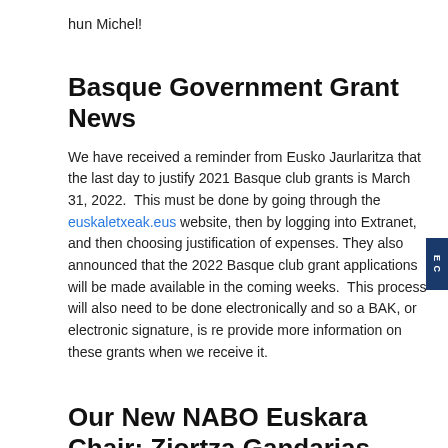hun Michel!
Basque Government Grant News
We have received a reminder from Eusko Jaurlaritza that the last day to justify 2021 Basque club grants is March 31, 2022.  This must be done by going through the euskaletxeak.eus website, then by logging into Extranet, and then choosing justification of expenses.  They also announced that the 2022 Basque club grant applications will be made available in the coming weeks.  This process will also need to be done electronically and so a BAK, or electronic signature, is re provide more information on these grants when we receive it.
Our New NABO Euskara Chair: Ziortza Gandarias
As previously reported, Dr. Ziortza Gandarias Beldarrain has been chose to take over for Martin Goicoechea as NABO's Euskara Chair.  This Monday, the Euskara committee met to officially welcome Ziortza to the team.  Being brand new to NABO, we wanted to introduce her to everyone. Ziortza came to the states in 2014, to pursue a Ph.D. in Basque Studies at the Center for Basque Studies at UNR. After